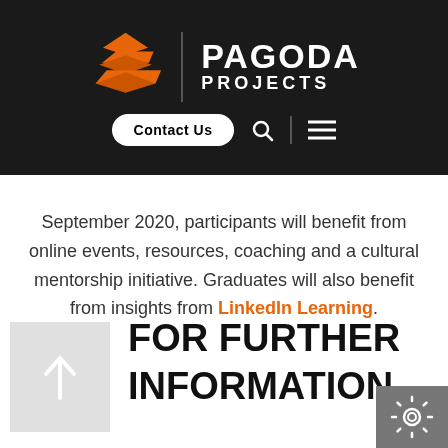[Figure (logo): Pagoda Projects logo with orange layered pagoda icon and white text on dark background, with Contact Us button and navigation icons]
September 2020, participants will benefit from online events, resources, coaching and a cultural mentorship initiative. Graduates will also benefit from insights from LinkedIn Learning.
FOR FURTHER INFORMATION